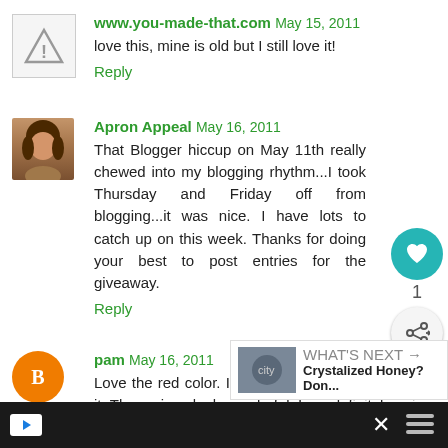www.you-made-that.com  May 15, 2011
love this, mine is old but I still love it!
Reply
Apron Appeal  May 16, 2011
That Blogger hiccup on May 11th really chewed into my blogging rhythm...I took Thursday and Friday off from blogging...it was nice. I have lots to catch up on this week. Thanks for doing your best to post entries for the giveaway.
Reply
pam  May 16, 2011
Love the red color. I just found your blog and love it. The recipes look wonderful. I am definitely going to try the hamburger buns.
pam roever at yahoo dot com